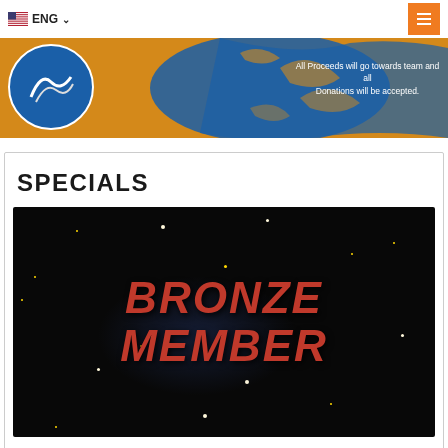ENG
[Figure (illustration): Website banner with blue and orange/gold background, a circular logo on the left, and text reading 'All Proceeds will go towards team and all Donations will be accepted.']
SPECIALS
[Figure (photo): Dark starfield background image with bold red italic text reading 'BRONZE MEMBER']